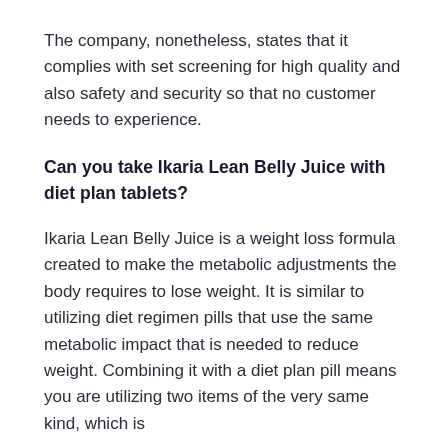The company, nonetheless, states that it complies with set screening for high quality and also safety and security so that no customer needs to experience.
Can you take Ikaria Lean Belly Juice with diet plan tablets?
Ikaria Lean Belly Juice is a weight loss formula created to make the metabolic adjustments the body requires to lose weight. It is similar to utilizing diet regimen pills that use the same metabolic impact that is needed to reduce weight. Combining it with a diet plan pill means you are utilizing two items of the very same kind, which is